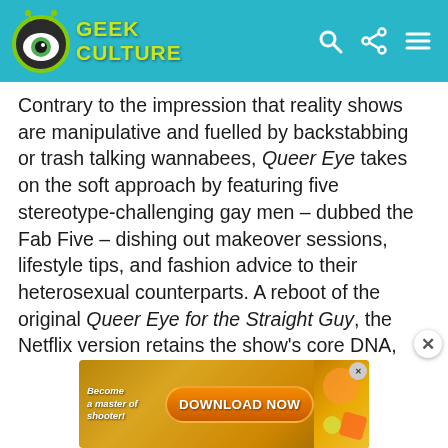Geek Culture
Contrary to the impression that reality shows are manipulative and fuelled by backstabbing or trash talking wannabees, Queer Eye takes on the soft approach by featuring five stereotype-challenging gay men – dubbed the Fab Five – dishing out makeover sessions, lifestyle tips, and fashion advice to their heterosexual counterparts. A reboot of the original Queer Eye for the Straight Guy, the Netflix version retains the show's core DNA, proving just how its formula has aged well even with a different cast.
It's a quirky, charming little series, made all the better by the quintet's honest camaraderie that brings an authentic, warm touch to their makeovers – throw some laughs into the mix, and you've got the perfect
[Figure (screenshot): Advertisement banner at the bottom: 'Become a master of shooter! DOWNLOAD NOW' on an orange/gold background with game graphics]